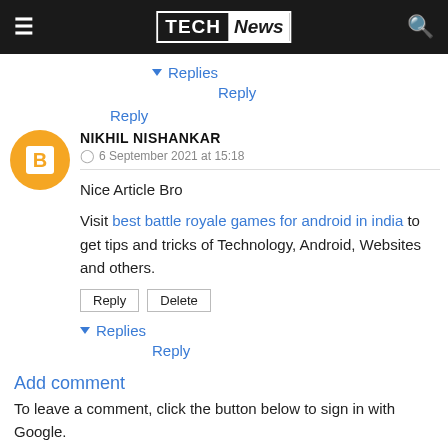TECH News
▾ Replies
Reply
Reply
NIKHIL NISHANKAR
6 September 2021 at 15:18
Nice Article Bro
Visit best battle royale games for android in india to get tips and tricks of Technology, Android, Websites and others.
Reply  Delete
▾ Replies
Reply
Add comment
To leave a comment, click the button below to sign in with Google.
SIGN IN WITH GOOGLE